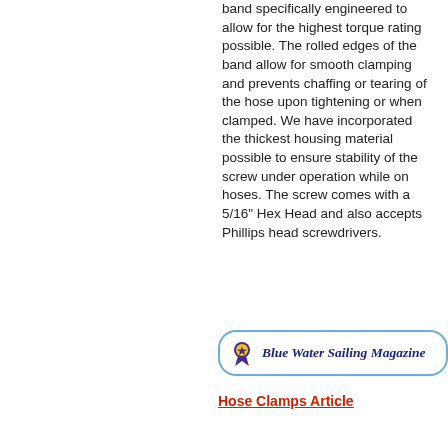band specifically engineered to allow for the highest torque rating possible. The rolled edges of the band allow for smooth clamping and prevents chaffing or tearing of the hose upon tightening or when clamped. We have incorporated the thickest housing material possible to ensure stability of the screw under operation while on hoses. The screw comes with a 5/16" Hex Head and also accepts Phillips head screwdrivers.
[Figure (logo): Blue Water Sailing Magazine badge/logo with ribbon icon and italic bold text]
Hose Clamps Article